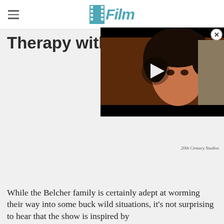/Film
Therapy with a fry co…
[Figure (screenshot): Video player overlay showing a woman with curly dark hair, play button in center, close button (X) in top right corner, black bars top and bottom.]
20th Century Studios
While the Belcher family is certainly adept at worming their way into some buck wild situations, it's not surprising to hear that the show is inspired by